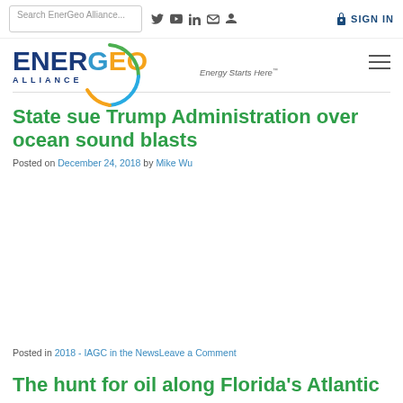Search EnerGeo Alliance... [nav icons] SIGN IN
[Figure (logo): EnerGeo Alliance logo with arc graphic and tagline 'Energy Starts Here']
State sue Trump Administration over ocean sound blasts
Posted on December 24, 2018 by Mike Wu
Posted in 2018 - IAGC in the NewsLeave a Comment
The hunt for oil along Florida's Atlantic